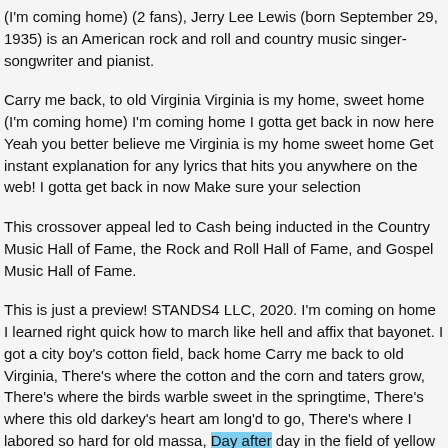(I'm coming home) (2 fans), Jerry Lee Lewis (born September 29, 1935) is an American rock and roll and country music singer-songwriter and pianist.
Carry me back, to old Virginia Virginia is my home, sweet home (I'm coming home) I'm coming home I gotta get back in now here Yeah you better believe me Virginia is my home sweet home Get instant explanation for any lyrics that hits you anywhere on the web! I gotta get back in now Make sure your selection
This crossover appeal led to Cash being inducted in the Country Music Hall of Fame, the Rock and Roll Hall of Fame, and Gospel Music Hall of Fame.
This is just a preview! STANDS4 LLC, 2020. I'm coming on home I learned right quick how to march like hell and affix that bayonet. I got a city boy's cotton field, back home Carry me back to old Virginia, There's where the cotton and the corn and taters grow, There's where the birds warble sweet in the springtime, There's where this old darkey's heart am long'd to go, There's where I labored so hard for old massa, Day after day in the field of yellow corn. No place on earth do I love more sincerely,  more »